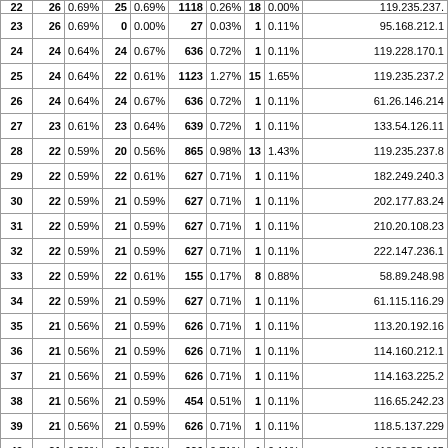| # | col2 | % | col4 | % | col6 | % | col8 | % | IP |
| --- | --- | --- | --- | --- | --- | --- | --- | --- | --- |
| 23 | 26 | 0.69% | 0 | 0.00% | 27 | 0.03% | 1 | 0.11% | 95.168.212.1 |
| 24 | 24 | 0.64% | 24 | 0.67% | 636 | 0.72% | 1 | 0.11% | 119.228.170.1 |
| 25 | 24 | 0.64% | 22 | 0.61% | 1123 | 1.27% | 15 | 1.65% | 119.235.237.2 |
| 26 | 24 | 0.64% | 24 | 0.67% | 636 | 0.72% | 1 | 0.11% | 61.26.146.214 |
| 27 | 23 | 0.61% | 23 | 0.64% | 639 | 0.72% | 1 | 0.11% | 133.54.126.11 |
| 28 | 22 | 0.59% | 20 | 0.56% | 865 | 0.98% | 13 | 1.43% | 119.235.237.8 |
| 29 | 22 | 0.59% | 22 | 0.61% | 627 | 0.71% | 1 | 0.11% | 182.249.240.3 |
| 30 | 22 | 0.59% | 21 | 0.59% | 627 | 0.71% | 1 | 0.11% | 202.177.83.24 |
| 31 | 22 | 0.59% | 21 | 0.59% | 627 | 0.71% | 1 | 0.11% | 210.20.108.23 |
| 32 | 22 | 0.59% | 21 | 0.59% | 627 | 0.71% | 1 | 0.11% | 222.147.236.1 |
| 33 | 22 | 0.59% | 22 | 0.61% | 155 | 0.17% | 8 | 0.88% | 58.89.248.98 |
| 34 | 22 | 0.59% | 21 | 0.59% | 627 | 0.71% | 1 | 0.11% | 61.115.116.29 |
| 35 | 21 | 0.56% | 21 | 0.59% | 626 | 0.71% | 1 | 0.11% | 113.20.192.16 |
| 36 | 21 | 0.56% | 21 | 0.59% | 626 | 0.71% | 1 | 0.11% | 114.160.212.1 |
| 37 | 21 | 0.56% | 21 | 0.59% | 626 | 0.71% | 1 | 0.11% | 114.163.225.2 |
| 38 | 21 | 0.56% | 21 | 0.59% | 454 | 0.51% | 1 | 0.11% | 116.65.242.23 |
| 39 | 21 | 0.56% | 21 | 0.59% | 626 | 0.71% | 1 | 0.11% | 118.5.137.229 |
| 40 | 21 | 0.56% | 21 | 0.59% | 626 | 0.71% | 1 | 0.11% | 118.83.25.165 |
| 41 | 21 | 0.56% | 21 | 0.59% | 626 | 0.71% | 1 | 0.11% | 118.9.103.157 |
| 42 | 21 | 0.56% | 21 | 0.59% | 626 | 0.71% | 1 | 0.11% | 119.173.50.51 |
| 43 | 21 | 0.56% | 21 | 0.59% | 626 | 0.71% | 1 | 0.11% | 122.29.30.13 |